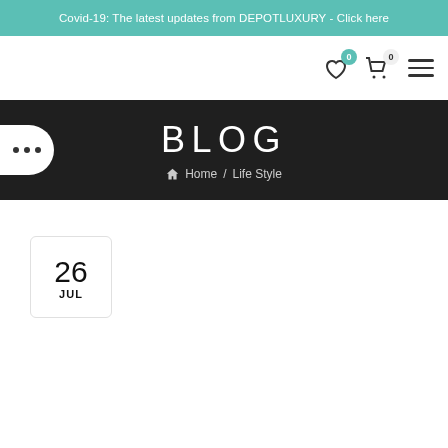Covid-19: The latest updates from DEPOTLUXURY - Click here
0 (wishlist) 0 (cart) menu
BLOG
Home / Life Style
26 JUL